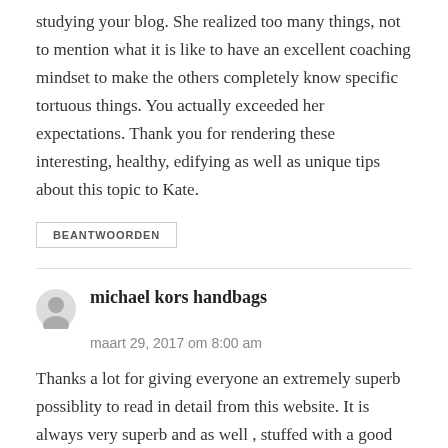studying your blog. She realized too many things, not to mention what it is like to have an excellent coaching mindset to make the others completely know specific tortuous things. You actually exceeded her expectations. Thank you for rendering these interesting, healthy, edifying as well as unique tips about this topic to Kate.
BEANTWOORDEN
michael kors handbags
maart 29, 2017 om 8:00 am
Thanks a lot for giving everyone an extremely superb possiblity to read in detail from this website. It is always very superb and as well , stuffed with a good time for me personally and my office colleagues to search the blog the equivalent of thrice